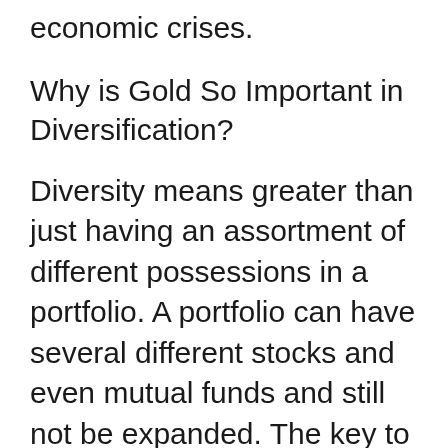economic crises.
Why is Gold So Important in Diversification?
Diversity means greater than just having an assortment of different possessions in a portfolio. A portfolio can have several different stocks and even mutual funds and still not be expanded. The key to diversity is to have assets that often tend to be pulled in various instructions during market events or conditions. Throughout boom times of high economic task and success, certain tech supplies may increase, while other more ordinary stocks may go stale.
What makes gold so special therefore needed in a diversification method is that it